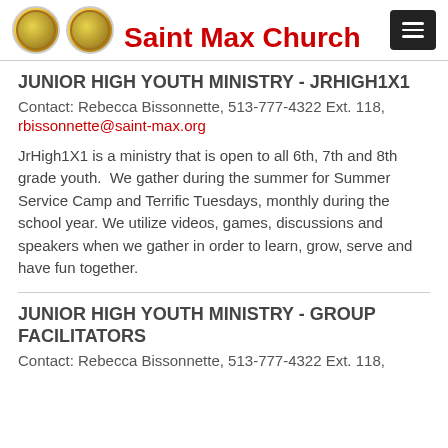Saint Max Church
JUNIOR HIGH YOUTH MINISTRY - JRHIGH1X1
Contact: Rebecca Bissonnette, 513-777-4322 Ext. 118, rbissonnette@saint-max.org
JrHigh1X1 is a ministry that is open to all 6th, 7th and 8th grade youth. We gather during the summer for Summer Service Camp and Terrific Tuesdays, monthly during the school year. We utilize videos, games, discussions and speakers when we gather in order to learn, grow, serve and have fun together.
JUNIOR HIGH YOUTH MINISTRY - GROUP FACILITATORS
Contact: Rebecca Bissonnette, 513-777-4322 Ext. 118,